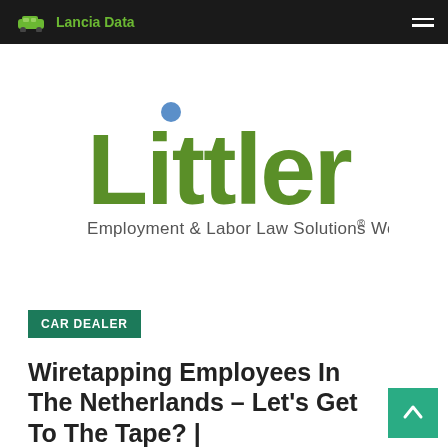Lancia Data
[Figure (logo): Littler logo — green bold wordmark with a blue dot over the letter i, tagline: Employment & Labor Law Solutions Worldwide®]
CAR DEALER
Wiretapping Employees In The Netherlands – Let's Get To The Tape? |